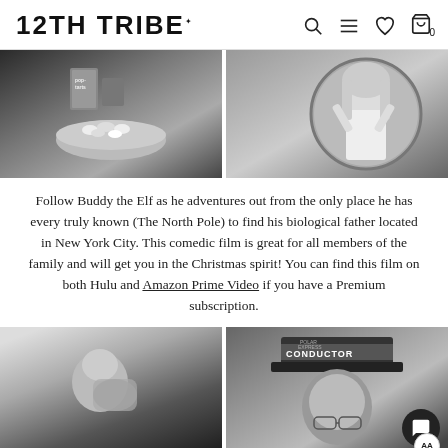12TH TRIBE
[Figure (photo): Two side-by-side black and white photos: left shows pop-tarts box and bowl of marshmallows; right shows a woman with blonde hair taking a selfie in a mirror]
Follow Buddy the Elf as he adventures out from the only place he has every truly known (The North Pole) to find his biological father located in New York City. This comedic film is great for all members of the family and will get you in the Christmas spirit! You can find this film on both Hulu and Amazon Prime Video if you have a Premium subscription.
[Figure (photo): Two side-by-side black and white photos: left shows a person eating from a bag; right shows a person wearing a Polar Express Conductor hat and glasses]